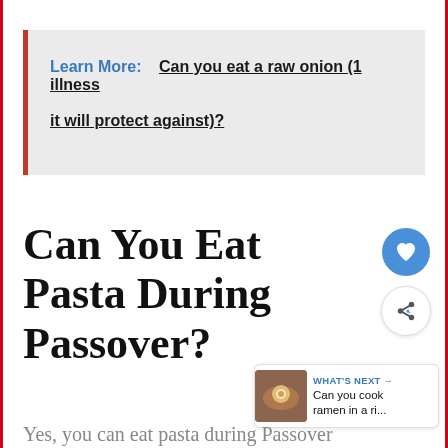Learn More:   Can you eat a raw onion (1 illness it will protect against)?
Can You Eat Pasta During Passover?
WHAT'S NEXT → Can you cook ramen in a ri...
Yes, you can eat pasta during Passover